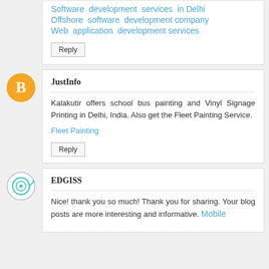Software development services in Delhi
Offshore software development company
Web application development services
Reply
JustInfo
Kalakutir offers school bus painting and Vinyl Signage Printing in Delhi, India. Also get the Fleet Painting Service.
Fleet Painting
Reply
EDGISS
Nice! thank you so much! Thank you for sharing. Your blog posts are more interesting and informative. Mobile